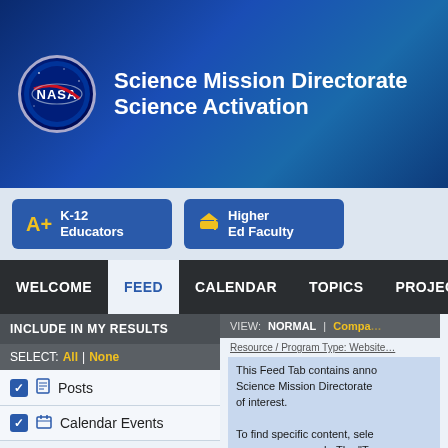[Figure (screenshot): NASA Science Mission Directorate Science Activation website screenshot showing header, navigation tabs (Welcome, Feed, Calendar, Topics, Projects), audience buttons (K-12 Educators, Higher Ed Faculty), and Feed tab content with filter options (Posts, Calendar Events) and introductory text.]
Science Mission Directorate Science Activation
K-12 Educators
Higher Ed Faculty
WELCOME | FEED | CALENDAR | TOPICS | PROJECTS
INCLUDE IN MY RESULTS
SELECT: All | None
Posts
Calendar Events
VIEW: NORMAL | Compact
Resource / Program Type: Website
This Feed Tab contains anno Science Mission Directorate of interest.

To find specific content, sele narrow your search. The "To together and presented as...